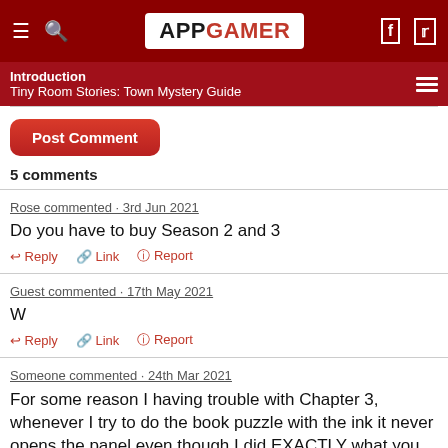APPGAMER
Introduction
Tiny Room Stories: Town Mystery Guide
Post Comment
5 comments
Rose commented · 3rd Jun 2021
Do you have to buy Season 2 and 3
Reply  Link  Report
Guest commented · 17th May 2021
W
Reply  Link  Report
Someone commented · 24th Mar 2021
For some reason I having trouble with Chapter 3, whenever I try to do the book puzzle with the ink it never opens the panel even though I did EXACTLY what you said.
Reply  Link  Report